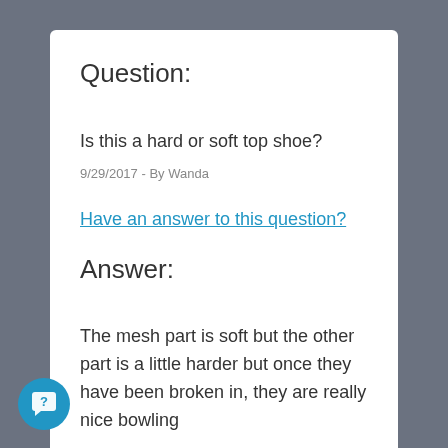Question:
Is this a hard or soft top shoe?
9/29/2017 - By Wanda
Have an answer to this question?
Answer:
The mesh part is soft but the other part is a little harder but once they have been broken in, they are really nice bowling